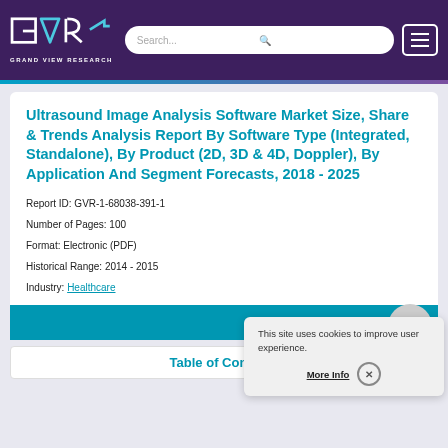Grand View Research | Search... | Menu
Ultrasound Image Analysis Software Market Size, Share & Trends Analysis Report By Software Type (Integrated, Standalone), By Product (2D, 3D & 4D, Doppler), By Application And Segment Forecasts, 2018 - 2025
Report ID: GVR-1-68038-391-1
Number of Pages: 100
Format: Electronic (PDF)
Historical Range: 2014 - 2015
Industry: Healthcare
Report
Table of Contents